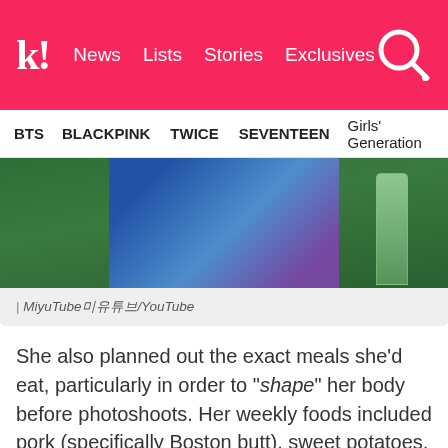k! News Lists Stories Exclusives
BTS  BLACKPINK  TWICE  SEVENTEEN  Girls' Generation
[Figure (photo): Photo of a person wearing a blue floral outfit, outdoors with green background, a glass bottle visible on the right.]
| MiyuTube미유튜브/YouTube
She also planned out the exact meals she'd eat, particularly in order to "shape" her body before photoshoots. Her weekly foods included pork (specifically Boston butt), sweet potatoes, eggs, rice, and salad.
Shockingly, at her most extreme, Miyu confesses she would lose 4kg in a week. However, she went on to admit that she "would